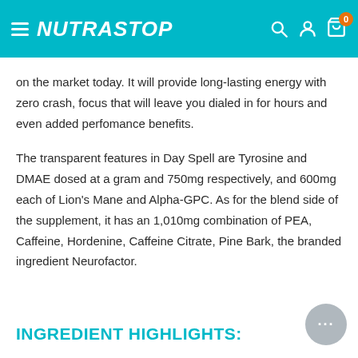NUTRASTOP
on the market today. It will provide long-lasting energy with zero crash, focus that will leave you dialed in for hours and even added perfomance benefits.
The transparent features in Day Spell are Tyrosine and DMAE dosed at a gram and 750mg respectively, and 600mg each of Lion's Mane and Alpha-GPC. As for the blend side of the supplement, it has an 1,010mg combination of PEA, Caffeine, Hordenine, Caffeine Citrate, Pine Bark, the branded ingredient Neurofactor.
INGREDIENT HIGHLIGHTS: